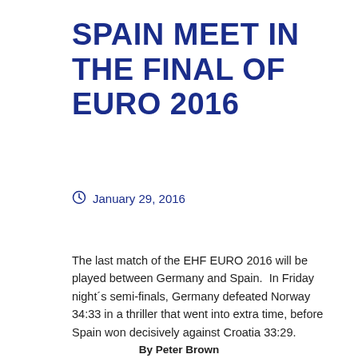SPAIN MEET IN THE FINAL OF EURO 2016
January 29, 2016
The last match of the EHF EURO 2016 will be played between Germany and Spain.  In Friday night´s semi-finals, Germany defeated Norway 34:33 in a thriller that went into extra time, before Spain won decisively against Croatia 33:29.
By Peter Brown